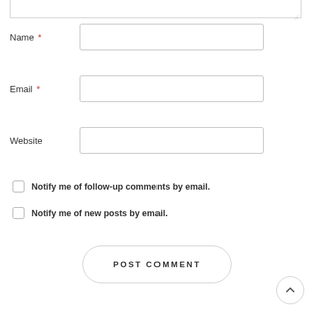[Figure (screenshot): Web comment form showing a textarea at the top (partially visible), fields for Name (required), Email (required), Website, two checkboxes for email notifications, a POST COMMENT button, and a back-to-top arrow button.]
Name *
Email *
Website
Notify me of follow-up comments by email.
Notify me of new posts by email.
POST COMMENT